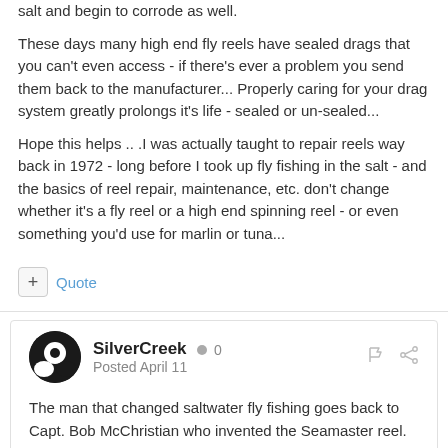salt and begin to corrode as well.
These days many high end fly reels have sealed drags that you can't even access - if there's ever a problem you send them back to the manufacturer... Properly caring for your drag system greatly prolongs it's life - sealed or un-sealed...
Hope this helps .. .I was actually taught to repair reels way back in 1972 - long before I took up fly fishing in the salt - and the basics of reel repair, maintenance, etc. don't change whether it's a fly reel or a high end spinning reel - or even something you'd use for marlin or tuna...
Quote
SilverCreek  0
Posted April 11
The man that changed saltwater fly fishing goes back to Capt. Bob McChristian who invented the Seamaster reel.